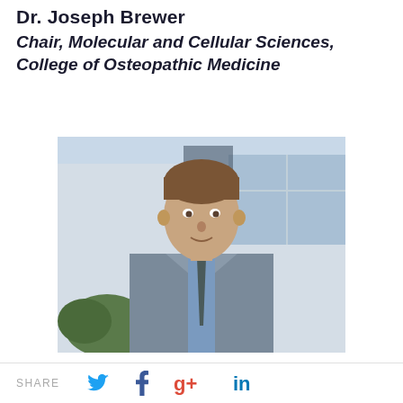Dr. Joseph Brewer
Chair, Molecular and Cellular Sciences, College of Osteopathic Medicine
[Figure (photo): Professional headshot of Dr. Joseph Brewer, a middle-aged man with brown hair, wearing a grey suit jacket, blue shirt, and dark tie, photographed outdoors in front of a building with glass windows.]
SHARE [Twitter] [Facebook] [Google+] [LinkedIn]